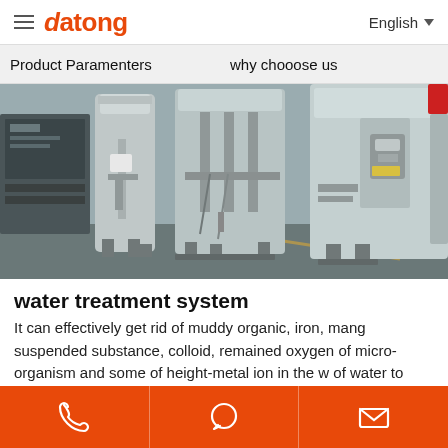datong — English
Product Paramenters    why chooose us
[Figure (photo): Industrial water treatment system equipment — stainless steel tanks and pipes in a factory setting]
water treatment system
It can effectively get rid of muddy organic, iron, mang suspended substance, colloid, remained oxygen of micro-organism and some of height-metal ion in the w of water to make it all specifications of the water